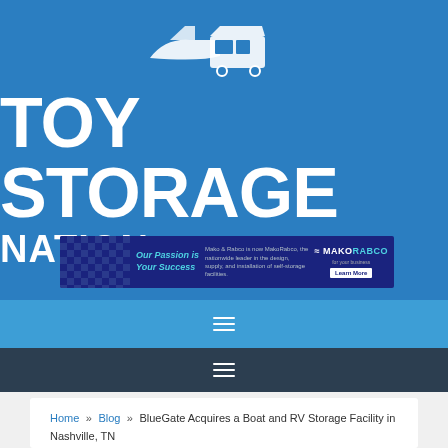[Figure (logo): Toy Storage Nation logo on blue background with boat and RV vehicle illustrations]
[Figure (screenshot): MakoRabco advertisement banner: 'Our Passion is Your Success' with company logo and Learn More button]
Navigation menu icon (hamburger) on light blue bar
Navigation menu icon (hamburger) on dark bar
Home » Blog » BlueGate Acquires a Boat and RV Storage Facility in Nashville, TN